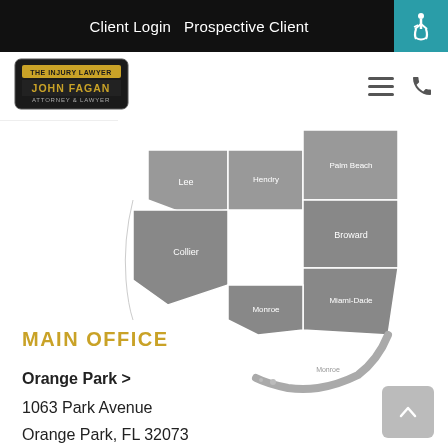Client Login  Prospective Client
[Figure (logo): John Fagan Attorney at Law logo badge with yellow/gold and black design]
[Figure (map): Partial map of South Florida counties including Lee, Hendry, Palm Beach, Collier, Broward, Monroe, Miami-Dade highlighted in gray]
MAIN OFFICE
Orange Park >
1063 Park Avenue
Orange Park, FL 32073